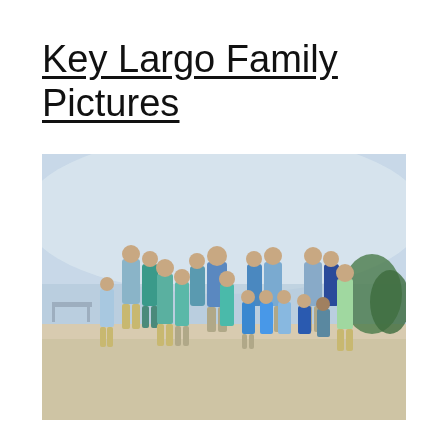Key Largo Family Pictures
[Figure (photo): Large family group photo taken on a beach in Key Largo. About 16 people including adults and children, most wearing shades of blue and teal. They are posed on sandy beach with water and mangroves in the background under an overcast sky.]